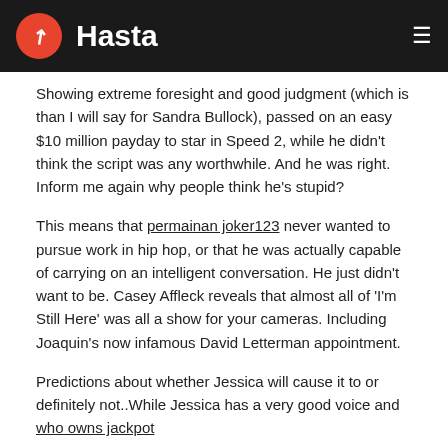Hasta
Showing extreme foresight and good judgment (which is than I will say for Sandra Bullock), passed on an easy $10 million payday to star in Speed 2, while he didn't think the script was any worthwhile. And he was right. Inform me again why people think he's stupid?
This means that permainan joker123 never wanted to pursue work in hip hop, or that he was actually capable of carrying on an intelligent conversation. He just didn't want to be. Casey Affleck reveals that almost all of 'I'm Still Here' was all a show for your cameras. Including Joaquin's now infamous David Letterman appointment.
Predictions about whether Jessica will cause it to or definitely not..While Jessica has a very good voice and who owns jackpot